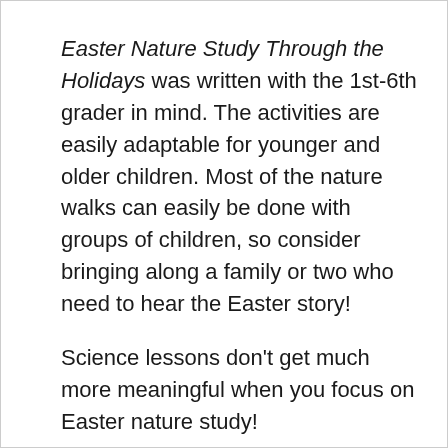Easter Nature Study Through the Holidays was written with the 1st-6th grader in mind. The activities are easily adaptable for younger and older children. Most of the nature walks can easily be done with groups of children, so consider bringing along a family or two who need to hear the Easter story!
Science lessons don't get much more meaningful when you focus on Easter nature study!
32 pages, digital curriculum